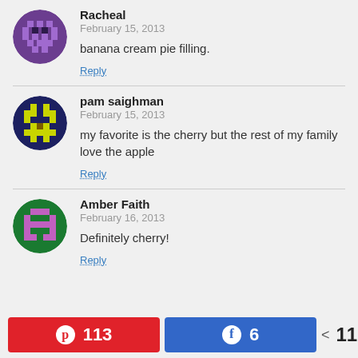Racheal
February 15, 2013
banana cream pie filling.
Reply
pam saighman
February 15, 2013
my favorite is the cherry but the rest of my family love the apple
Reply
Amber Faith
February 16, 2013
Definitely cherry!
Reply
[Figure (infographic): Social share bar with Pinterest (113 shares), Facebook (6 shares), and total 119 SHARES]